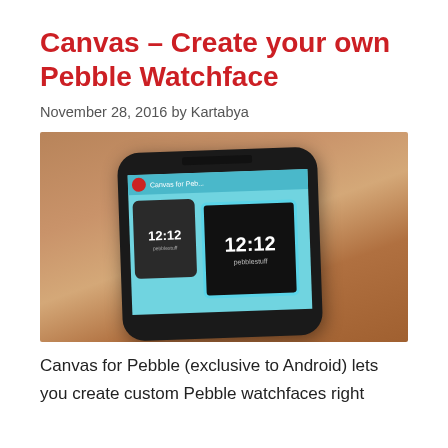Canvas – Create your own Pebble Watchface
November 28, 2016 by Kartabya
[Figure (photo): Smartphone displaying the Canvas for Pebble app interface, showing watchface previews with 12:12 time and 'pebblestuff' branding, with background color swatches at the bottom. Phone is placed on a wooden surface.]
Canvas for Pebble (exclusive to Android) lets you create custom Pebble watchfaces right